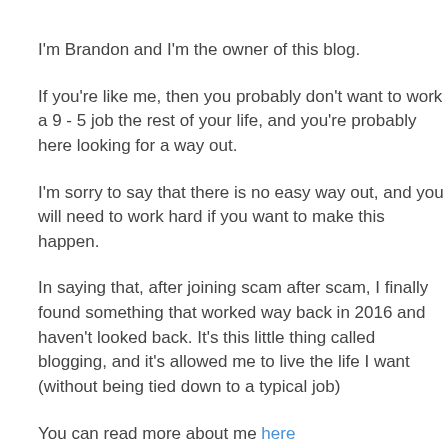I'm Brandon and I'm the owner of this blog.
If you're like me, then you probably don't want to work a 9 - 5 job the rest of your life, and you're probably here looking for a way out.
I'm sorry to say that there is no easy way out, and you will need to work hard if you want to make this happen.
In saying that, after joining scam after scam, I finally found something that worked way back in 2016 and haven't looked back. It's this little thing called blogging, and it's allowed me to live the life I want (without being tied down to a typical job)
You can read more about me here